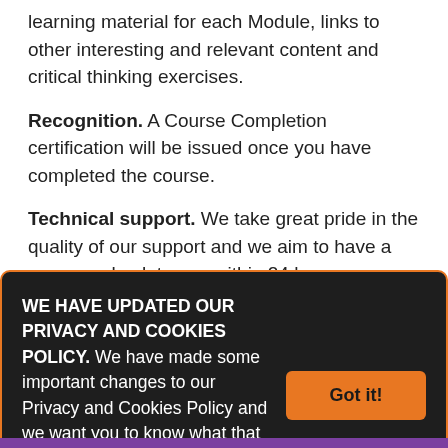learning material for each Module, links to other interesting and relevant content and critical thinking exercises.
Recognition. A Course Completion certification will be issued once you have completed the course.
Technical support. We take great pride in the quality of our support and we aim to have a response back to you within 24 hours.
WE HAVE UPDATED OUR PRIVACY AND COOKIES POLICY. We have made some important changes to our Privacy and Cookies Policy and we want you to know what that means for you and your data. Learn More.